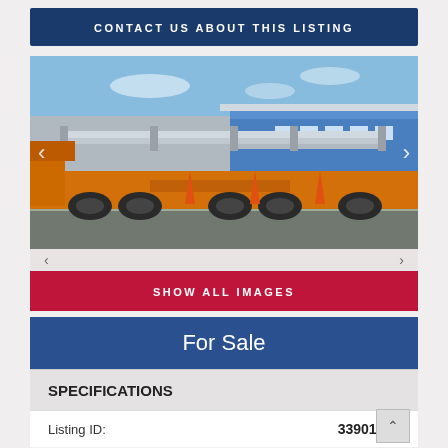CONTACT US ABOUT THIS LISTING
[Figure (photo): Orange heavy-duty flatbed trailer/transporter with steel beam load, parked at an industrial facility with blue metal buildings in background, under a clear blue sky.]
SHOW ALL IMAGES
For Sale
SPECIFICATIONS
Listing ID: 33901834